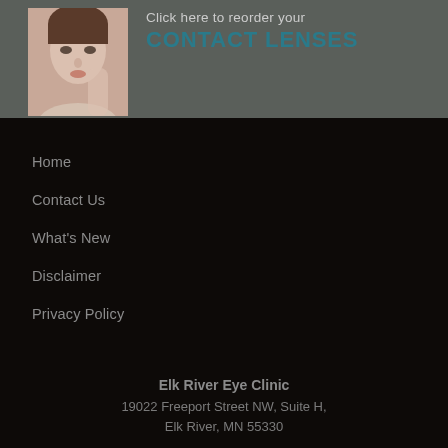[Figure (photo): Close-up photo of a person's face, partial view showing eye area]
Click here to reorder your CONTACT LENSES
Home
Contact Us
What's New
Disclaimer
Privacy Policy
Elk River Eye Clinic
19022 Freeport Street NW, Suite H,
Elk River, MN 55330